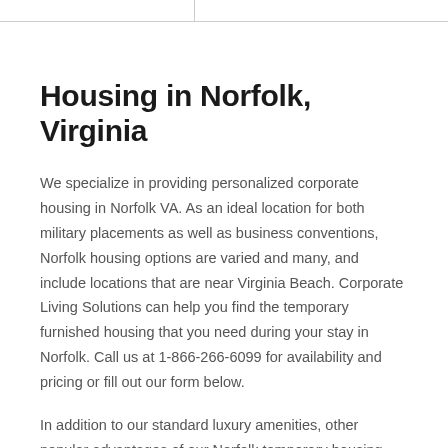Housing in Norfolk, Virginia
We specialize in providing personalized corporate housing in Norfolk VA. As an ideal location for both military placements as well as business conventions, Norfolk housing options are varied and many, and include locations that are near Virginia Beach. Corporate Living Solutions can help you find the temporary furnished housing that you need during your stay in Norfolk. Call us at 1-866-266-6099 for availability and pricing or fill out our form below.
In addition to our standard luxury amenities, other popular advantages of our Norfolk temporary housing include: